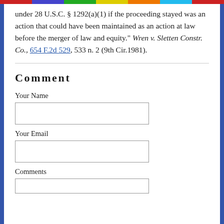under 28 U.S.C. § 1292(a)(1) if the proceeding stayed was an action that could have been maintained as an action at law before the merger of law and equity." Wren v. Sletten Constr. Co., 654 F.2d 529, 533 n. 2 (9th Cir.1981).
Comment
Your Name
Your Email
Comments